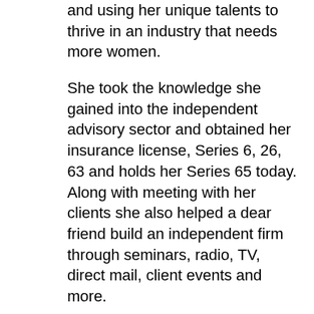and using her unique talents to thrive in an industry that needs more women.
She took the knowledge she gained into the independent advisory sector and obtained her insurance license, Series 6, 26, 63 and holds her Series 65 today.  Along with meeting with her clients she also helped a dear friend build an independent firm through seminars, radio, TV, direct mail, client events and more.
The rapid growth of that firm caught the attention of Advisors Excel, the largest independent marketing organization in the nation.  She joined Advisors Excel in 2013 and is now Vice President of Advisor Development.
Using her industry experience from Security Benefit, Jones Advisory Group and Advisors Excel she was able to write a book, “Stop Guessing